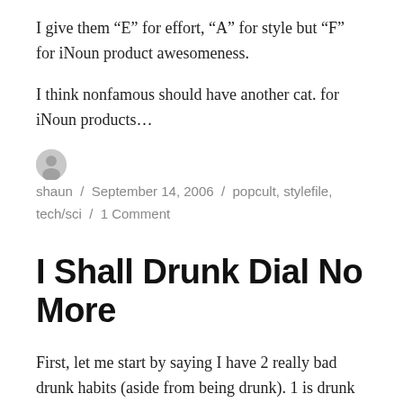I give them “E” for effort, “A” for style but “F” for iNoun product awesomeness.
I think nonfamous should have another cat. for iNoun products…
shaun / September 14, 2006 / popcult, stylefile, tech/sci / 1 Comment
I Shall Drunk Dial No More
First, let me start by saying I have 2 really bad drunk habits (aside from being drunk). 1 is drunk emailing and the other is drunk dialing.